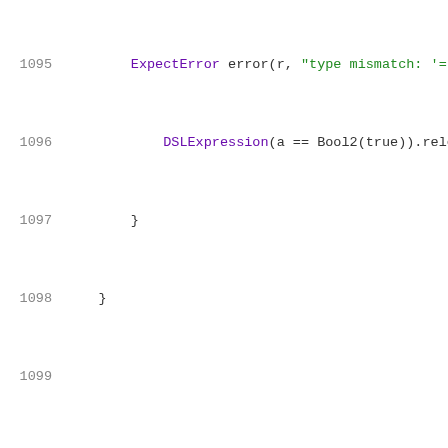[Figure (screenshot): Source code viewer showing C++ test code, lines 1095-1116, with syntax highlighting. Line numbers in gray on left, keywords in purple, string literals in green, other code in dark/black.]